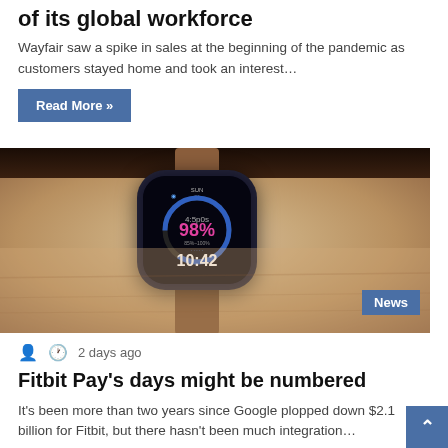of its global workforce
Wayfair saw a spike in sales at the beginning of the pandemic as customers stayed home and took an interest…
Read More »
[Figure (photo): A smartwatch (Fitbit) on a person's wrist, showing 98% and 10:42 on the display, with a brown leather strap. A 'News' badge appears in the bottom right corner of the image.]
2 days ago
Fitbit Pay's days might be numbered
It's been more than two years since Google plopped down $2.1 billion for Fitbit, but there hasn't been much integration…